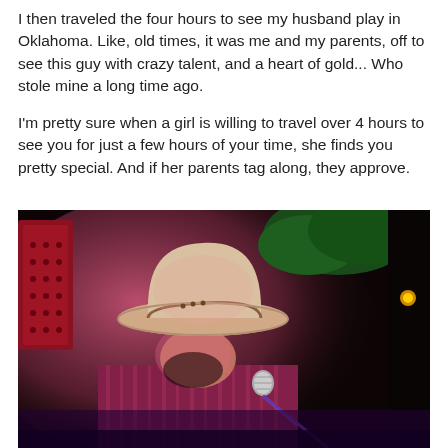I then traveled the four hours to see my husband play in Oklahoma. Like, old times, it was me and my parents, off to see this guy with crazy talent, and a heart of gold... Who stole mine a long time ago.
I'm pretty sure when a girl is willing to travel over 4 hours to see you for just a few hours of your time, she finds you pretty special. And if her parents tag along, they approve.
[Figure (photo): A man wearing a white cowboy hat performing on stage, singing into a microphone. He is wearing a striped shirt and is lit with pink/purple stage lighting. In the background there are red and green decorations visible.]